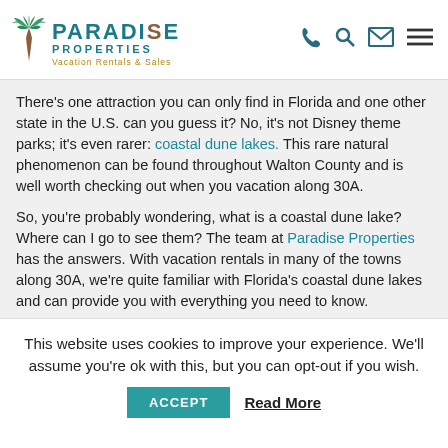[Figure (logo): Paradise Properties Vacation Rentals & Sales logo with teal palm tree icon and navigation icons (phone, search, mail, menu)]
There's one attraction you can only find in Florida and one other state in the U.S. can you guess it? No, it's not Disney theme parks; it's even rarer: coastal dune lakes. This rare natural phenomenon can be found throughout Walton County and is well worth checking out when you vacation along 30A.
So, you're probably wondering, what is a coastal dune lake? Where can I go to see them? The team at Paradise Properties has the answers. With vacation rentals in many of the towns along 30A, we're quite familiar with Florida's coastal dune lakes and can provide you with everything you need to know.
This website uses cookies to improve your experience. We'll assume you're ok with this, but you can opt-out if you wish.